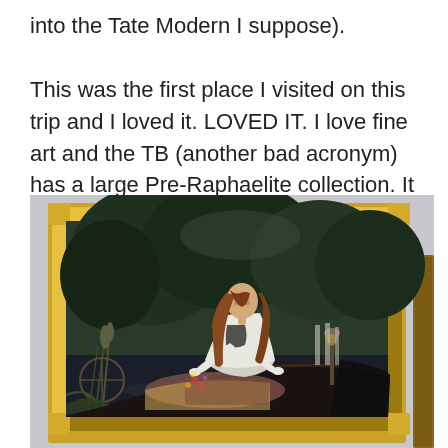into the Tate Modern I suppose).

This was the first place I visited on this trip and I loved it. LOVED IT. I love fine art and the TB (another bad acronym) has a large Pre-Raphaelite collection. It was like a 'greatest hits' parade of romantic paintings.
[Figure (photo): A photograph of a Pre-Raphaelite painting in a gold ornate frame, hanging on a gallery wall. The painting depicts a young woman with long auburn hair, dressed in white, reclining in a wooden boat on a dark river, surrounded by reeds and water. A dark lamp post is visible on the right side of the boat. The background shows dark trees and a misty landscape. A partial wooden frame of another painting is visible on the far right edge.]